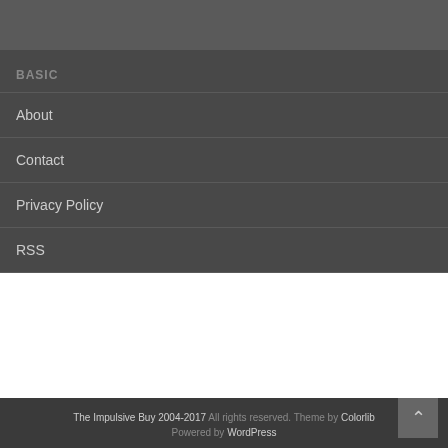BASIC
About
Contact
Privacy Policy
RSS
The Impulsive Buy 2004-2017 All rights reserved. Theme by Colorlib Powered by WordPress